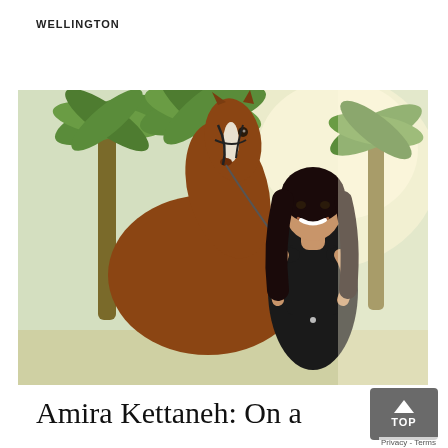WELLINGTON
[Figure (photo): A smiling woman with long dark hair wearing a black floral dress stands beside a brown horse with a white blaze, outdoors with palm trees in the background.]
Amira Kettaneh: On a Championing Path